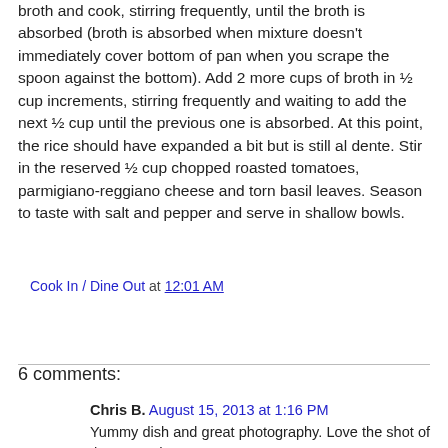broth and cook, stirring frequently, until the broth is absorbed (broth is absorbed when mixture doesn't immediately cover bottom of pan when you scrape the spoon against the bottom). Add 2 more cups of broth in ½ cup increments, stirring frequently and waiting to add the next ½ cup until the previous one is absorbed. At this point, the rice should have expanded a bit but is still al dente. Stir in the reserved ½ cup chopped roasted tomatoes, parmigiano-reggiano cheese and torn basil leaves. Season to taste with salt and pepper and serve in shallow bowls.
Cook In / Dine Out at 12:01 AM
Share
6 comments:
Chris B. August 15, 2013 at 1:16 PM
Yummy dish and great photography. Love the shot of the roasted tomatoes.